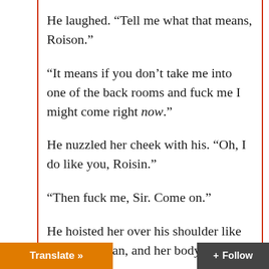He laughed. “Tell me what that means, Roison.”
“It means if you don’t take me into one of the back rooms and fuck me I might come right now.”
He nuzzled her cheek with his. “Oh, I do like you, Roisin.”
“Then fuck me, Sir. Come on.”
He hoisted her over his shoulder like some caveman, and her body went hot all over as he carried throu